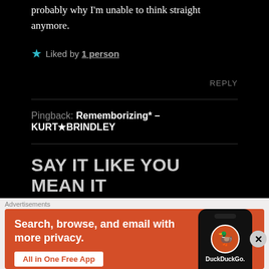probably why I'm unable to think straight anymore.
★ Liked by 1 person
REPLY
Pingback: Rememborizing* – KURT★BRINDLEY
SAY IT LIKE YOU MEAN IT
Advertisements
[Figure (screenshot): DuckDuckGo advertisement: Search, browse, and email with more privacy. All in One Free App. Shows a phone with DuckDuckGo logo.]